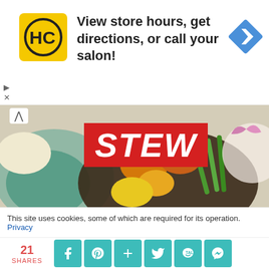[Figure (screenshot): Advertisement banner: HC salon logo (yellow square with HC text), text 'View store hours, get directions, or call your salon!', blue diamond navigation arrow icon on right, small play and X controls on left]
[Figure (photo): Food photo banner with 'STEW' text in bold red/white label overlaid on colorful food with curry dishes, vegetables, and grains. Chevron up arrow at top left.]
[Figure (screenshot): Agoda hotel booking advertisement showing the agoda logo with colored dots (red, orange, green, purple, blue) over a misty mountain landscape with forest silhouette]
This site uses cookies, some of which are required for its operation. Privacy
21 SHARES with social share buttons: Facebook, Pinterest, Plus, Twitter, KakaoTalk, Messenger